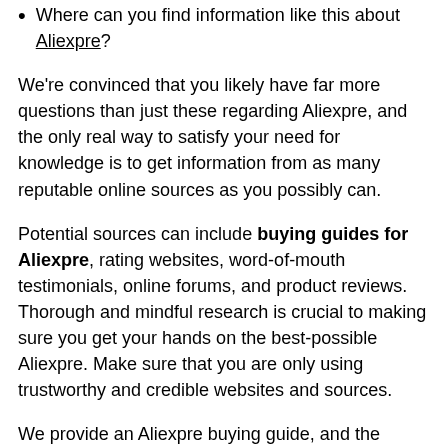Where can you find information like this about Aliexpre?
We're convinced that you likely have far more questions than just these regarding Aliexpre, and the only real way to satisfy your need for knowledge is to get information from as many reputable online sources as you possibly can.
Potential sources can include buying guides for Aliexpre, rating websites, word-of-mouth testimonials, online forums, and product reviews. Thorough and mindful research is crucial to making sure you get your hands on the best-possible Aliexpre. Make sure that you are only using trustworthy and credible websites and sources.
We provide an Aliexpre buying guide, and the information is totally objective and authentic. We employ both AI and big data in proofreading the collected information. How did we create this buying guide? We did it using a